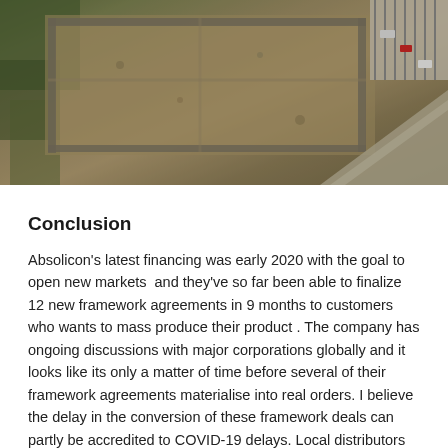[Figure (photo): Aerial/drone photograph showing a construction site or cleared land plot, with roads, vehicles, and adjacent structures visible from above.]
Conclusion
Absolicon's latest financing was early 2020 with the goal to open new markets  and they've so far been able to finalize 12 new framework agreements in 9 months to customers who wants to mass produce their product . The company has ongoing discussions with major corporations globally and it looks like its only a matter of time before several of their framework agreements materialise into real orders. I believe the delay in the conversion of these framework deals can partly be accredited to COVID-19 delays. Local distributors will likely want to build up their own order book before placing their actual order on the Absolicon system.
Absolicon has a patented and unique solution which can be used